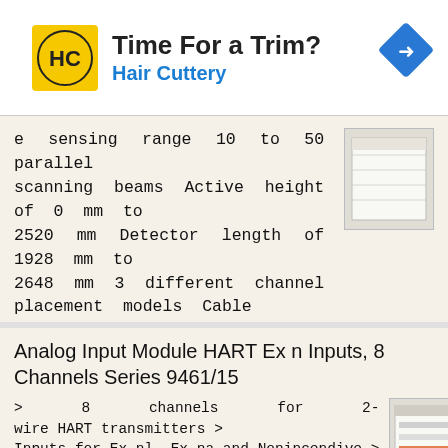[Figure (other): Advertisement banner for Hair Cuttery with logo (HC in circle on yellow background), headline 'Time For a Trim?' and subtext 'Hair Cuttery', plus a blue diamond navigation icon on the right.]
e sensing range 10 to 50 parallel scanning beams Active height of 0 mm to 2520 mm Detector length of 1928 mm to 2648 mm 3 different channel placement models Cable
More information →
Analog Input Module HART Ex n Inputs, 8 Channels Series 9461/15
> 8 channels for 2-wire HART transmitters > Inputs for Ex nl, Ex na and Nonincendive > Galvanic separation between inputs and system > Open-circuit and short-circuit monitoring for each field circuit >
More information →